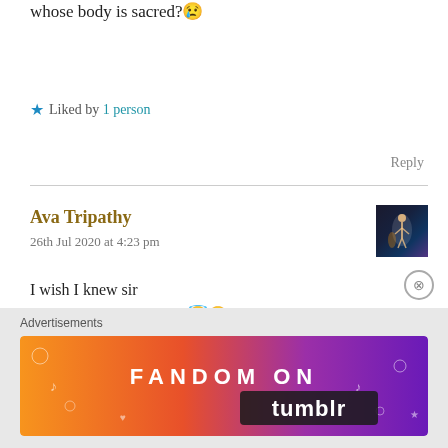Oh my God . How could men be so cruel to a woman whose body is sacred?😢
★ Liked by 1 person
Reply
Ava Tripathy
26th Jul 2020 at 4:23 pm
I wish I knew sir
Thanks a lot for reading 😇😊
★ Liked by 1 person
[Figure (other): Fandom on Tumblr advertisement banner with orange-to-purple gradient and white decorative elements]
Advertisements